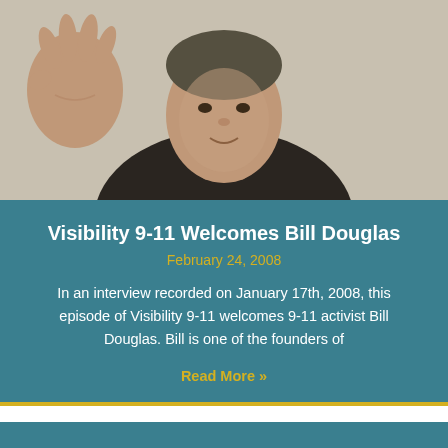[Figure (photo): A man raising his hand in an 'OK' gesture, wearing a dark shirt, photographed indoors against a light wall background.]
Visibility 9-11 Welcomes Bill Douglas
February 24, 2008
In an interview recorded on January 17th, 2008, this episode of Visibility 9-11 welcomes 9-11 activist Bill Douglas.  Bill is one of the founders of
Read More »
[Figure (other): A second teal/dark teal card block, partially visible at bottom of page.]